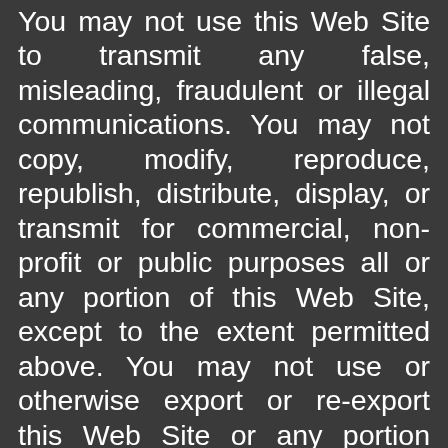You may not use this Web Site to transmit any false, misleading, fraudulent or illegal communications. You may not copy, modify, reproduce, republish, distribute, display, or transmit for commercial, non-profit or public purposes all or any portion of this Web Site, except to the extent permitted above. You may not use or otherwise export or re-export this Web Site or any portion thereof, or the Content in violation of the export control laws and regulations of the United States of America. Any unauthorized use of this Web Site or its Content is prohibited.